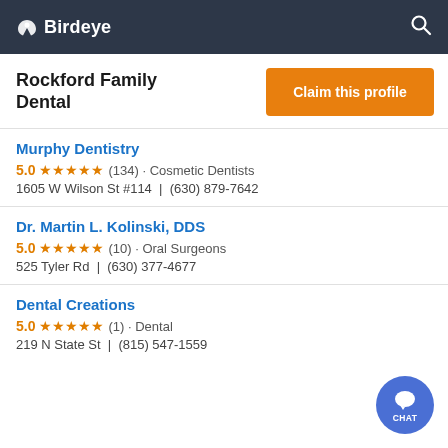Birdeye
Rockford Family Dental
Claim this profile
Murphy Dentistry
5.0 ★★★★★ (134) · Cosmetic Dentists
1605 W Wilson St #114 | (630) 879-7642
Dr. Martin L. Kolinski, DDS
5.0 ★★★★★ (10) · Oral Surgeons
525 Tyler Rd | (630) 377-4677
Dental Creations
5.0 ★★★★★ (1) · Dental
219 N State St | (815) 547-1559